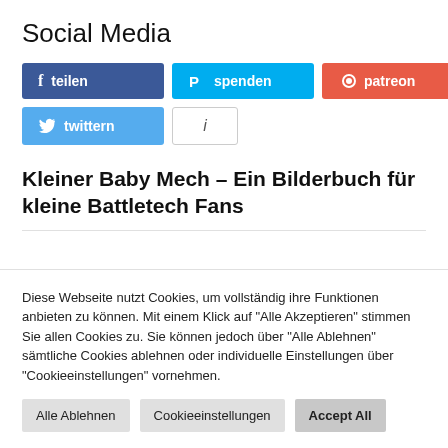Social Media
[Figure (other): Social media sharing buttons: Facebook teilen (blue), Paypal spenden (light blue), Patreon patreon (orange-red), Twitter twittern (light blue), Info button (white/grey)]
Kleiner Baby Mech – Ein Bilderbuch für kleine Battletech Fans
Diese Webseite nutzt Cookies, um vollständig ihre Funktionen anbieten zu können. Mit einem Klick auf "Alle Akzeptieren" stimmen Sie allen Cookies zu. Sie können jedoch über "Alle Ablehnen" sämtliche Cookies ablehnen oder individuelle Einstellungen über "Cookieeinstellungen" vornehmen.
Alle Ablehnen
Cookieeinstellungen
Accept All